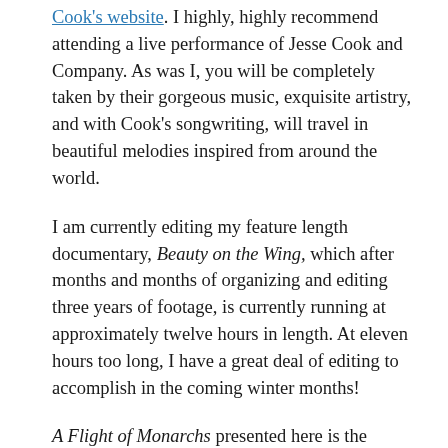Cook's website. I highly, highly recommend attending a live performance of Jesse Cook and Company. As was I, you will be completely taken by their gorgeous music, exquisite artistry, and with Cook's songwriting, will travel in beautiful melodies inspired from around the world.
I am currently editing my feature length documentary, Beauty on the Wing, which after months and months of organizing and editing three years of footage, is currently running at approximately twelve hours in length. At eleven hours too long, I have a great deal of editing to accomplish in the coming winter months!
A Flight of Monarchs presented here is the shorter version of the film that I created for the Berkshire Museum's "Butterflies" exhibit. The first version is six minutes long and played on a continuous loop in the main gallery of the exhibit hall. The longer version will soon be posted on Vimeo.